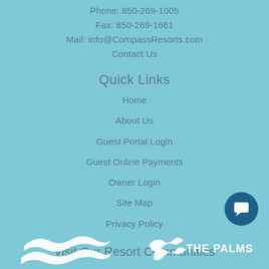Phone: 850-269-1005
Fax: 850-269-1661
Mail: info@CompassResorts.com
Contact Us
Quick Links
Home
About Us
Guest Portal Login
Guest Online Payments
Owner Login
Site Map
Privacy Policy
Visit Our Resort Communities
[Figure (logo): Compass Resorts logo (wavy bird silhouette, white)]
[Figure (logo): The Palms logo (white bird/palm silhouette with text THE PALMS)]
[Figure (illustration): Chat/message button icon, dark blue circle]